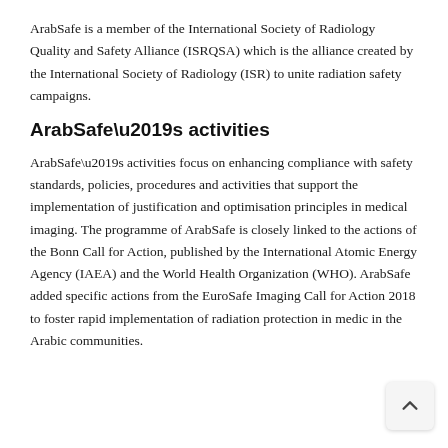ArabSafe is a member of the International Society of Radiology Quality and Safety Alliance (ISRQSA) which is the alliance created by the International Society of Radiology (ISR) to unite radiation safety campaigns.
ArabSafe’s activities
ArabSafe’s activities focus on enhancing compliance with safety standards, policies, procedures and activities that support the implementation of justification and optimisation principles in medical imaging. The programme of ArabSafe is closely linked to the actions of the Bonn Call for Action, published by the International Atomic Energy Agency (IAEA) and the World Health Organization (WHO). ArabSafe added specific actions from the EuroSafe Imaging Call for Action 2018 to foster rapid implementation of radiation protection in medical in the Arabic communities.